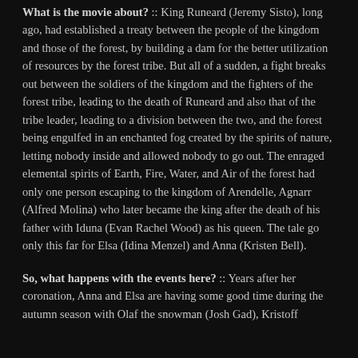What is the movie about? :: King Runeard (Jeremy Sisto), long ago, had established a treaty between the people of the kingdom and those of the forest, by building a dam for the better utilization of resources by the forest tribe. But all of a sudden, a fight breaks out between the soldiers of the kingdom and the fighters of the forest tribe, leading to the death of Runeard and also that of the tribe leader, leading to a division between the two, and the forest being engulfed in an enchanted fog created by the spirits of nature, letting nobody inside and allowed nobody to go out. The enraged elemental spirits of Earth, Fire, Water, and Air of the forest had only one person escaping to the kingdom of Arendelle, Agnarr (Alfred Molina) who later became the king after the death of his father with Iduna (Evan Rachel Wood) as his queen. The tale go only this far for Elsa (Idina Menzel) and Anna (Kristen Bell).
So, what happens with the events here? :: Years after her coronation, Anna and Elsa are having some good time during the autumn season with Olaf the snowman (Josh Gad), Kristoff